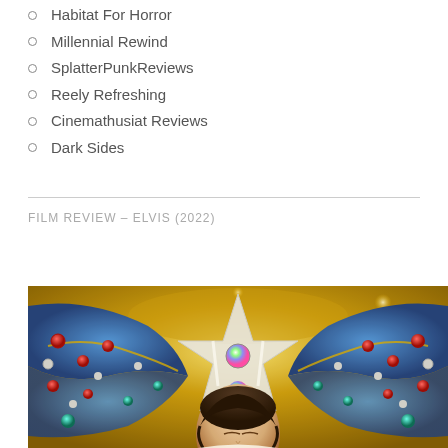Habitat For Horror
Millennial Rewind
SplatterPunkReviews
Reely Refreshing
Cinemathusiat Reviews
Dark Sides
FILM REVIEW – ELVIS (2022)
[Figure (photo): Movie poster or promotional image for Elvis (2022) film showing a figure in an ornate jeweled blue and white costume with gold decorative elements and gemstones.]